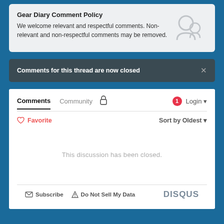Gear Diary Comment Policy
We welcome relevant and respectful comments. Non-relevant and non-respectful comments may be removed.
Comments for this thread are now closed
Comments  Community  [lock icon]  [1 badge]  Login
♡ Favorite    Sort by Oldest
This discussion has been closed.
✉ Subscribe  ▲ Do Not Sell My Data  DISQUS